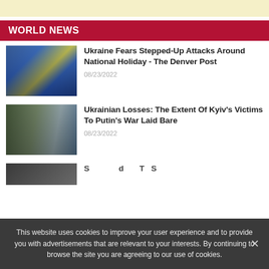[Figure (other): Advertisement banner, light yellow background]
WORLD NEWS
[Figure (photo): Ukraine flag being held by people, blue and yellow colors]
Ukraine Fears Stepped-Up Attacks Around National Holiday - The Denver Post
08/23/2022
[Figure (photo): Zelensky and protest signs including Stand with Ukraine]
Ukrainian Losses: The Extent Of Kyiv’s Victims To Putin’s War Laid Bare
08/23/2022
[Figure (photo): Partial image of third news article, partially obscured by cookie banner]
This website uses cookies to improve your user experience and to provide you with advertisements that are relevant to your interests. By continuing to browse the site you are agreeing to our use of cookies.